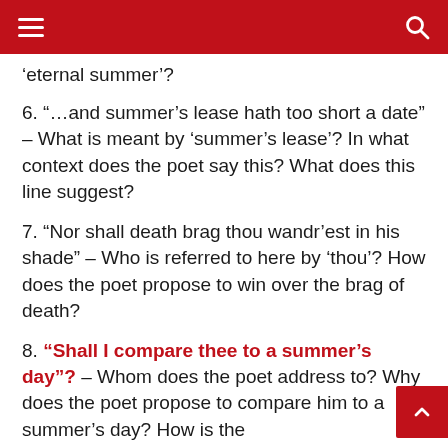Navigation header with hamburger menu and search icon
'eternal summer'?
6. “…and summer’s lease hath too short a date” – What is meant by ‘summer’s lease’? In what context does the poet say this? What does this line suggest?
7. “Nor shall death brag thou wandr’est in his shade” – Who is referred to here by ‘thou’? How does the poet propose to win over the brag of death?
8. “Shall I compare thee to a summer’s day”? – Whom does the poet address to? Why does the poet propose to compare him to a summer’s day? How is the